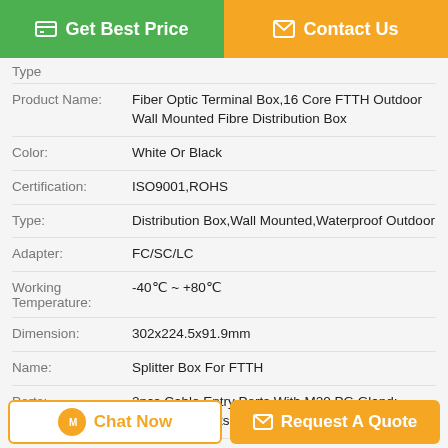[Figure (other): Get Best Price green button and Contact Us orange button at top]
| Property | Value |
| --- | --- |
| Product Name: | Fiber Optic Terminal Box,16 Core FTTH Outdoor Wall Mounted Fibre Distribution Box |
| Color: | White Or Black |
| Certification: | ISO9001,ROHS |
| Type: | Distribution Box,Wall Mounted,Waterproof Outdoor |
| Adapter: | FC/SC/LC |
| Working Temperature: | -40℃ ~ +80℃ |
| Dimension: | 302x224.5x91.9mm |
| Name: | Splitter Box For FTTH |
| Ports: | 2pcs Cable Entry Ports With M20 PG Gland; 16pcs Exit Ports For 2*3mm FTTH Drop Cable |
| Capacity: | 16 Fibers |
| Ip Grade: | Outdoor IP65 |
| Warranty: | 1-2 Year |
| Protection Level: | IP65 |
[Figure (other): Chat Now and Request A Quote buttons at bottom]